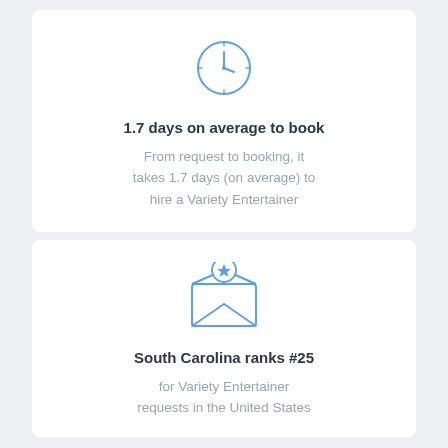[Figure (illustration): Blue outline clock icon with clock hands pointing to approximately 12:08]
1.7 days on average to book
From request to booking, it takes 1.7 days (on average) to hire a Variety Entertainer
[Figure (illustration): Blue outline open envelope icon with a star badge on the envelope flap]
South Carolina ranks #25
for Variety Entertainer requests in the United States